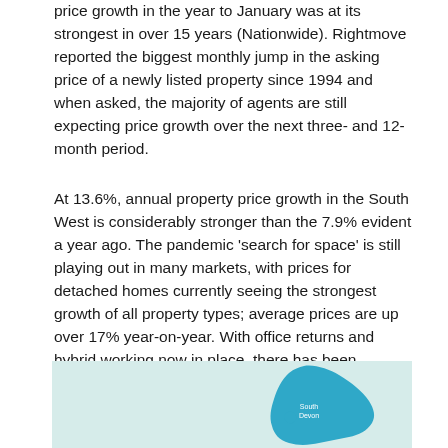price growth in the year to January was at its strongest in over 15 years (Nationwide). Rightmove reported the biggest monthly jump in the asking price of a newly listed property since 1994 and when asked, the majority of agents are still expecting price growth over the next three- and 12-month period.
At 13.6%, annual property price growth in the South West is considerably stronger than the 7.9% evident a year ago. The pandemic 'search for space' is still playing out in many markets, with prices for detached homes currently seeing the strongest growth of all property types; average prices are up over 17% year-on-year. With office returns and hybrid working now in place, there has been renewed interest in apartment living, and many town and city centre locations are seeing a rise in buyer demand.
[Figure (map): Map of South West England region shown in teal/blue colour on a light teal background, partially visible at the bottom of the page.]